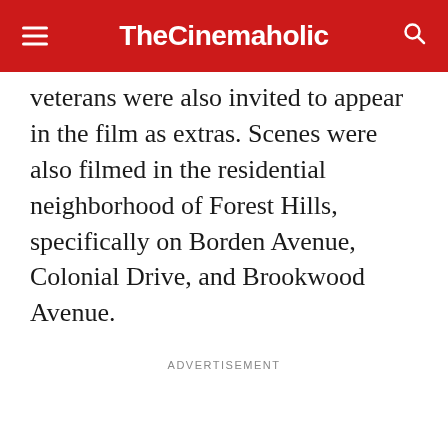TheCinemaholic
veterans were also invited to appear in the film as extras. Scenes were also filmed in the residential neighborhood of Forest Hills, specifically on Borden Avenue, Colonial Drive, and Brookwood Avenue.
ADVERTISEMENT